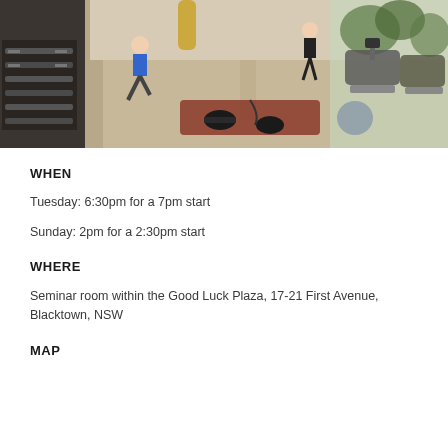[Figure (photo): Interior photo of a modern gym/fitness center showing people exercising with dumbbells, barbells, treadmills, and a yoga mat on a light wood floor with large windows in the background.]
WHEN
Tuesday: 6:30pm for a 7pm start
Sunday: 2pm for a 2:30pm start
WHERE
Seminar room within the Good Luck Plaza, 17-21 First Avenue, Blacktown, NSW
MAP